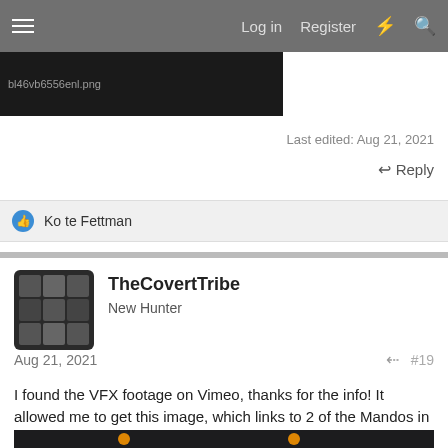Log in  Register
[Figure (screenshot): Dark image strip with filename text partially visible]
Last edited: Aug 21, 2021
Reply
Ko te Fettman
[Figure (photo): Avatar image grid of Mandalorian helmet icons on dark background]
TheCovertTribe
New Hunter
Aug 21, 2021
#19
I found the VFX footage on Vimeo, thanks for the info! It allowed me to get this image, which links to 2 of the Mandos in the concept art:
[Figure (photo): Close-up image of a Mandalorian helmet visor with glowing eyes/rangefinder against dark background]